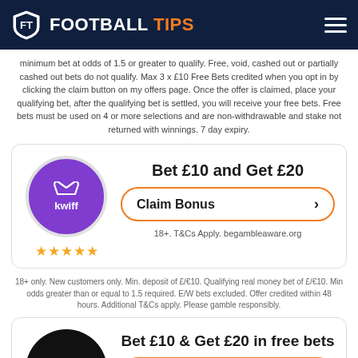FOOTBALL TIPS
minimum bet at odds of 1.5 or greater to qualify. Free, void, cashed out or partially cashed out bets do not qualify. Max 3 x £10 Free Bets credited when you opt in by clicking the claim button on my offers page. Once the offer is claimed, place your qualifying bet, after the qualifying bet is settled, you will receive your free bets. Free bets must be used on 4 or more selections and are non-withdrawable and stake not returned with winnings. 7 day expiry.
[Figure (logo): Kwiff purple circle logo with crown icon]
Bet £10 and Get £20
Claim Bonus
18+. T&Cs Apply. begambleaware.org
18+ only. New customers only. Min. deposit of £/€10. Qualifying real money bet of £/€10. Min odds greater than or equal to 1.5 required. E/W bets excluded. Offer credited within 48 hours. Additional T&Cs apply. Please gamble responsibly.
[Figure (logo): LiveScoreBet black circle logo]
Bet £10 & Get £20 in free bets
Claim Bonus